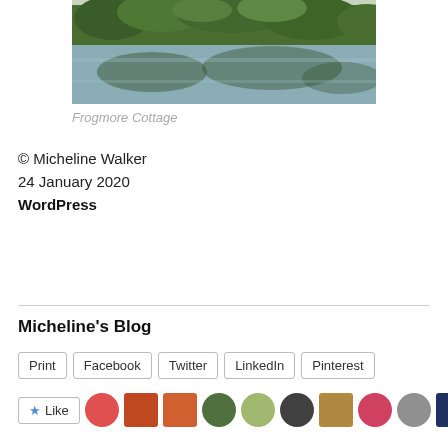[Figure (photo): Photograph of Frogmore Cottage showing a lake or pond with green trees and their reflection in the water]
Frogmore Cottage
© Micheline Walker
24 January 2020
WordPress
Micheline's Blog
Print  Facebook  Twitter  LinkedIn  Pinterest
[Figure (other): Like button with star icon and a row of user avatar thumbnails]